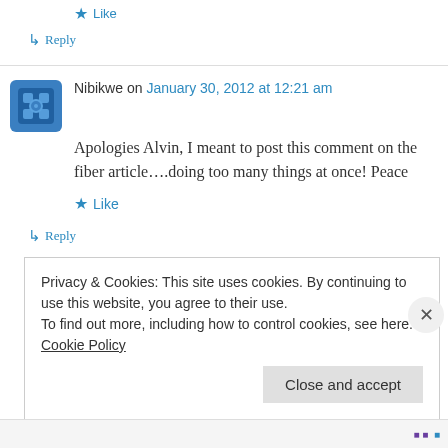Like
↳ Reply
Nibikwe on January 30, 2012 at 12:21 am
Apologies Alvin, I meant to post this comment on the fiber article….doing too many things at once! Peace
★ Like
↳ Reply
Privacy & Cookies: This site uses cookies. By continuing to use this website, you agree to their use. To find out more, including how to control cookies, see here: Cookie Policy
Close and accept